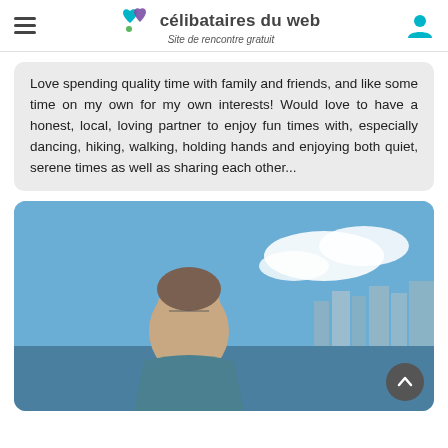célibataires du web — Site de rencontre gratuit
Love spending quality time with family and friends, and like some time on my own for my own interests! Would love to have a honest, local, loving partner to enjoy fun times with, especially dancing, hiking, walking, holding hands and enjoying both quiet, serene times as well as sharing each other...
[Figure (photo): Photo of a woman smiling outdoors with a blue sky, clouds, and a city skyline in the background]